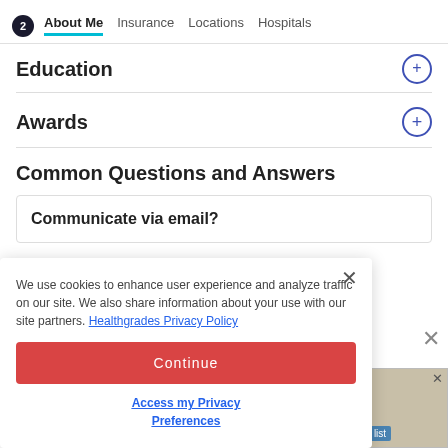About Me | Insurance | Locations | Hospitals
Education
Awards
Common Questions and Answers
Communicate via email?
We use cookies to enhance user experience and analyze traffic on our site. We also share information about your use with our site partners. Healthgrades Privacy Policy
Continue
Access my Privacy Preferences